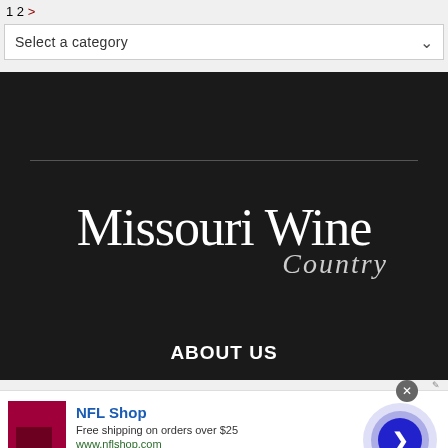1 2 >
[Figure (screenshot): Dropdown select box with text 'Select a category' and a chevron down arrow]
[Figure (logo): Missouri Wine Country logo — white serif text on dark/black background with a horizontal divider line above it]
ABOUT US
[Figure (infographic): NFL Shop advertisement banner: red NFL shop logo/image on left, 'NFL Shop' title in blue, 'Free shipping on orders over $25', 'www.nflshop.com', 'SHOP NOW' black button, a blue circle arrow button on the right, and a close X button at top right]